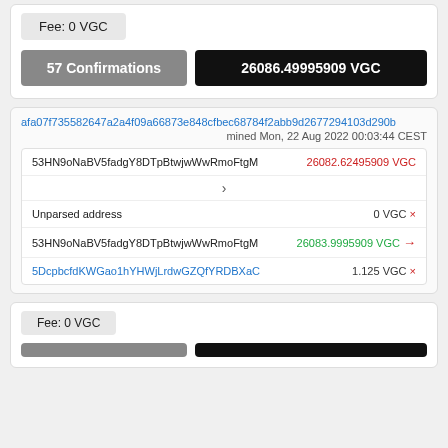Fee: 0 VGC
57 Confirmations
26086.49995909 VGC
afa07f735582647a2a4f09a66873e848cfbec68784f2abb9d2677294103d290b
mined Mon, 22 Aug 2022 00:03:44 CEST
53HN9oNaBV5fadgY8DTpBtwjwWwRmoFtgM
26082.62495909 VGC
Unparsed address
0 VGC ×
53HN9oNaBV5fadgY8DTpBtwjwWwRmoFtgM
26083.9995909 VGC →
5DcpbcfdKWGao1hYHWjLrdwGZQfYRDBXaC
1.125 VGC ×
Fee: 0 VGC